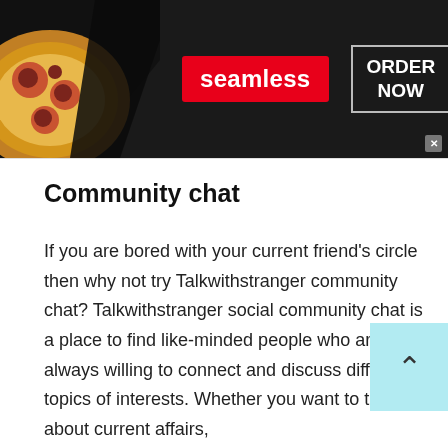[Figure (screenshot): Seamless food delivery advertisement banner with pizza image on the left, red Seamless logo in center, and ORDER NOW button with white border on dark background]
Community chat
If you are bored with your current friend's circle then why not try Talkwithstranger community chat? Talkwithstranger social community chat is a place to find like-minded people who are always willing to connect and discuss different topics of interests. Whether you want to talk about current affairs,
[Figure (screenshot): Chewy.com advertisement banner: Pet Food, Products, Supplies at Low Prices - Pay the lowest prices on pet supplies at Chewy.com, with product image thumbnails and a blue circular arrow button]